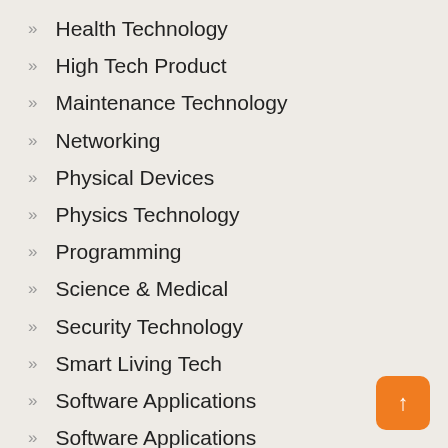Health Technology
High Tech Product
Maintenance Technology
Networking
Physical Devices
Physics Technology
Programming
Science & Medical
Security Technology
Smart Living Tech
Software Applications
Software Applications